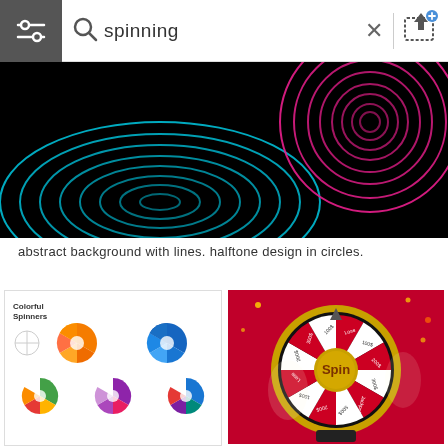spinning
[Figure (illustration): Abstract black background with blue and pink concentric spiral circle lines forming a halftone design.]
abstract background with lines. halftone design in circles.
[Figure (illustration): Colorful Spinners — a set of colorful spinner wheel segments in multiple color combinations, arranged in a grid, labeled with numbers.]
[Figure (illustration): A casino-style spinning wheel on a red confetti background with 'Spin' in the center and prize labels (100$, 200$, 300$, Jackpot, Lose, etc.) on the segments.]